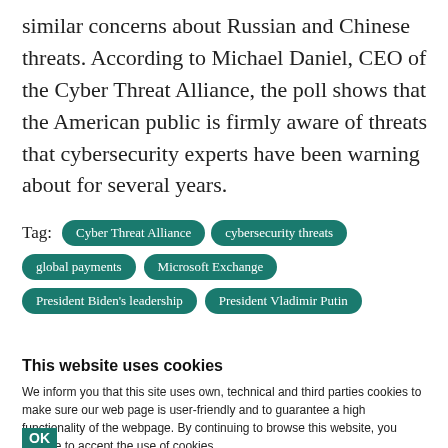similar concerns about Russian and Chinese threats. According to Michael Daniel, CEO of the Cyber Threat Alliance, the poll shows that the American public is firmly aware of threats that cybersecurity experts have been warning about for several years.
Tag: Cyber Threat Alliance | cybersecurity threats | global payments | Microsoft Exchange | President Biden's leadership | President Vladimir Putin
This website uses cookies
We inform you that this site uses own, technical and third parties cookies to make sure our web page is user-friendly and to guarantee a high functionality of the webpage. By continuing to browse this website, you declare to accept the use of cookies.